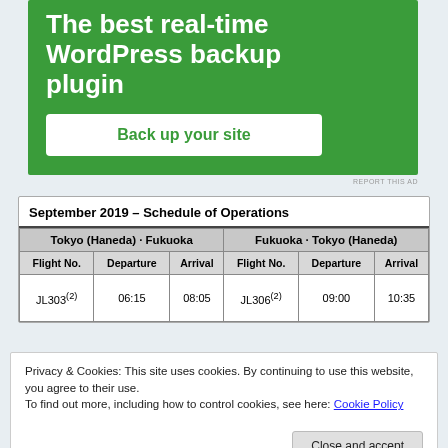[Figure (screenshot): Green advertisement banner for WordPress backup plugin with white title text 'The best real-time WordPress backup plugin' and a white button 'Back up your site']
| Tokyo (Haneda) - Fukuoka |  |  | Fukuoka - Tokyo (Haneda) |  |  |
| --- | --- | --- | --- | --- | --- |
| Flight No. | Departure | Arrival | Flight No. | Departure | Arrival |
| JL303 (2) | 06:15 | 08:05 | JL306 (2) | 09:00 | 10:35 |
Privacy & Cookies: This site uses cookies. By continuing to use this website, you agree to their use.
To find out more, including how to control cookies, see here: Cookie Policy